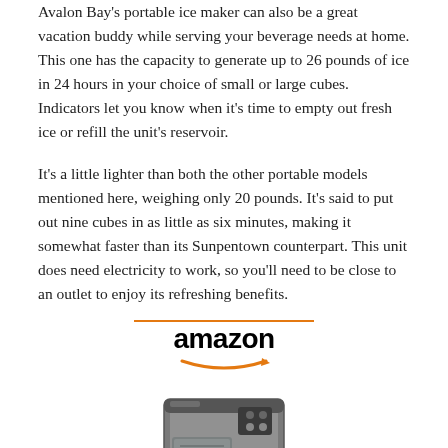Avalon Bay's portable ice maker can also be a great vacation buddy while serving your beverage needs at home. This one has the capacity to generate up to 26 pounds of ice in 24 hours in your choice of small or large cubes. Indicators let you know when it's time to empty out fresh ice or refill the unit's reservoir.
It's a little lighter than both the other portable models mentioned here, weighing only 20 pounds. It's said to put out nine cubes in as little as six minutes, making it somewhat faster than its Sunpentown counterpart. This unit does need electricity to work, so you'll need to be close to an outlet to enjoy its refreshing benefits.
[Figure (logo): Amazon logo with orange line above and smile arrow below, followed by a photo of a portable countertop ice maker appliance in silver/dark gray]